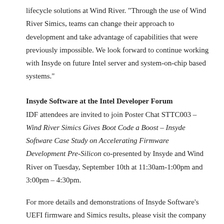lifecycle solutions at Wind River. "Through the use of Wind River Simics, teams can change their approach to development and take advantage of capabilities that were previously impossible. We look forward to continue working with Insyde on future Intel server and system-on-chip based systems."
Insyde Software at the Intel Developer Forum
IDF attendees are invited to join Poster Chat STTC003 – Wind River Simics Gives Boot Code a Boost – Insyde Software Case Study on Accelerating Firmware Development Pre-Silicon co-presented by Insyde and Wind River on Tuesday, September 10th at 11:30am-1:00pm and 3:00pm – 4:30pm.
For more details and demonstrations of Insyde Software's UEFI firmware and Simics results, please visit the company in Booth #551, September 10-12, 2013 at the Moscone Center, San Francisco, CA.
About Insyde Software